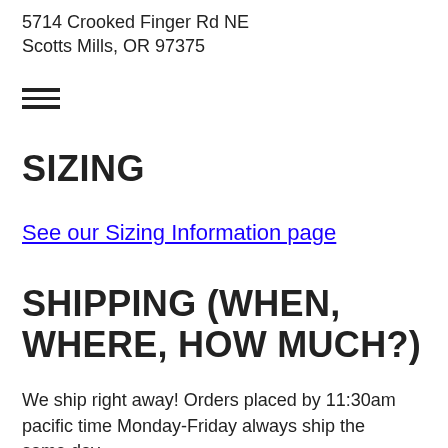5714 Crooked Finger Rd NE
Scotts Mills, OR 97375
[Figure (other): Hamburger menu icon (three horizontal lines)]
SIZING
See our Sizing Information page
SHIPPING (WHEN, WHERE, HOW MUCH?)
We ship right away! Orders placed by 11:30am pacific time Monday-Friday always ship the same day.